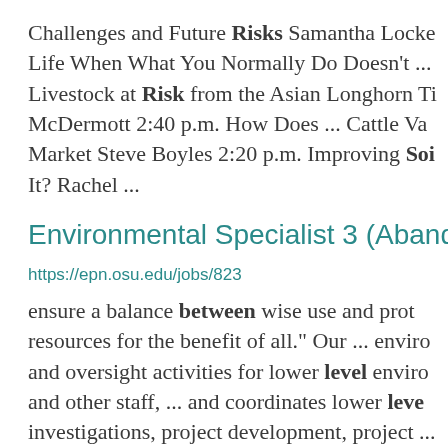Challenges and Future Risks Samantha Locke Life When What You Normally Do Doesn't ... Livestock at Risk from the Asian Longhorn Ti McDermott 2:40 p.m. How Does ... Cattle Va Market Steve Boyles 2:20 p.m. Improving Soi It? Rachel ...
Environmental Specialist 3 (Abandon
https://epn.osu.edu/jobs/823
ensure a balance between wise use and prot resources for the benefit of all." Our ... enviro and oversight activities for lower level enviro and other staff, ... and coordinates lower leve investigations, project development, project ...